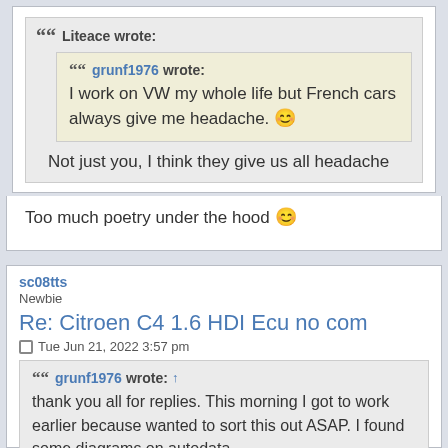Liteace wrote:
grunf1976 wrote: I work on VW my whole life but French cars always give me headache.
Not just you, I think they give us all headache
Too much poetry under the hood
sc08tts
Newbie
Re: Citroen C4 1.6 HDI Ecu no com
Tue Jun 21, 2022 3:57 pm
grunf1976 wrote: ↑ thank you all for replies. This morning I got to work earlier because wanted to sort this out ASAP. I found some diagrams on autodata